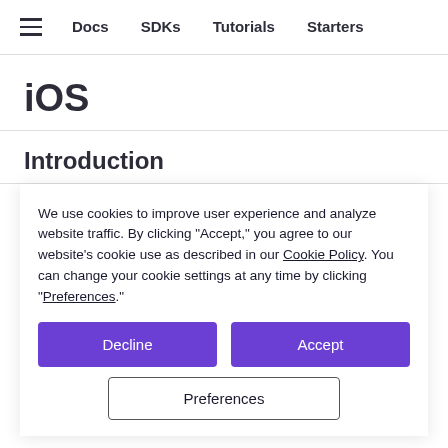Docs  SDKs  Tutorials  Starters
iOS
Introduction
This tutorial will take you through the basics of creating a...
We use cookies to improve user experience and analyze website traffic. By clicking “Accept,” you agree to our website’s cookie use as described in our Cookie Policy. You can change your cookie settings at any time by clicking “Preferences.”
Getting started
Implementing Kin in your app